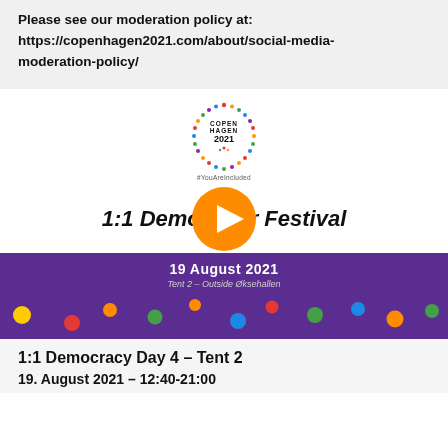Please see our moderation policy at: https://copenhagen2021.com/about/social-media-moderation-policy/
[Figure (logo): Copenhagen 2021 circular logo with colorful dots and text '#YouAreIncluded']
[Figure (screenshot): Video thumbnail showing '1:1 Democracy Festival' title with a large orange play button overlay]
[Figure (infographic): Purple banner with '19 August 2021', 'Tent 2 – Outside Øksehallen' and colorful dots decoration]
1:1 Democracy Day 4 – Tent 2
19. August 2021 – 12:40-21:00